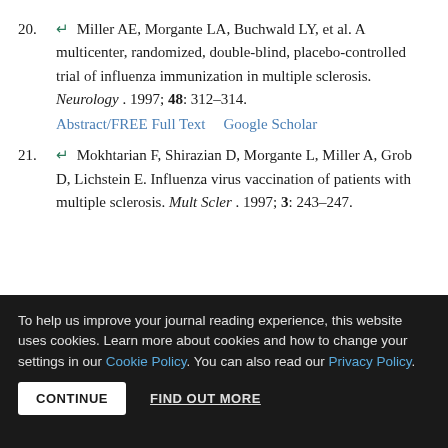20. ↵ Miller AE, Morgante LA, Buchwald LY, et al. A multicenter, randomized, double-blind, placebo-controlled trial of influenza immunization in multiple sclerosis. Neurology. 1997; 48: 312–314. Abstract/FREE Full Text  Google Scholar
21. ↵ Mokhtarian F, Shirazian D, Morgante L, Miller A, Grob D, Lichstein E. Influenza virus vaccination of patients with multiple sclerosis. Mult Scler. 1997; 3: 243–247.
To help us improve your journal reading experience, this website uses cookies. Learn more about cookies and how to change your settings in our Cookie Policy. You can also read our Privacy Policy.